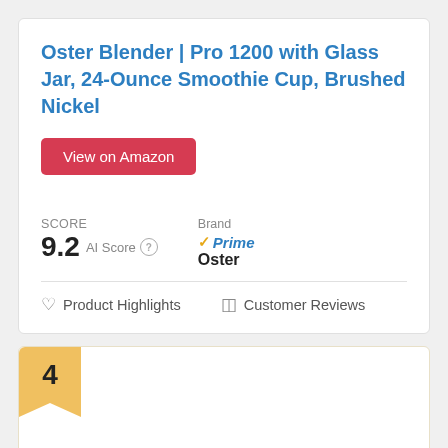Oster Blender | Pro 1200 with Glass Jar, 24-Ounce Smoothie Cup, Brushed Nickel
View on Amazon
SCORE
9.2 AI Score
Brand Oster
Prime
Product Highlights
Customer Reviews
4